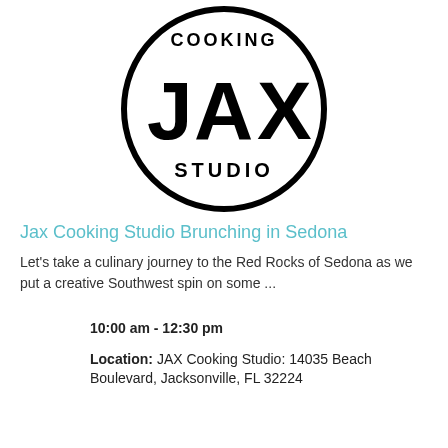[Figure (logo): Jax Cooking Studio circular logo with COOKING text at top, large JAX text in center, and STUDIO text at bottom, black circle border]
Jax Cooking Studio Brunching in Sedona
Let's take a culinary journey to the Red Rocks of Sedona as we put a creative Southwest spin on some ...
10:00 am - 12:30 pm
Location: JAX Cooking Studio: 14035 Beach Boulevard, Jacksonville, FL 32224